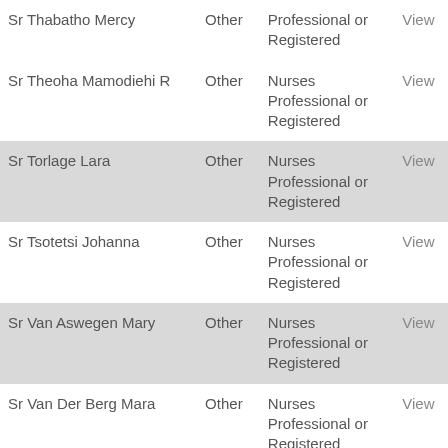| Name | Type | Role | Action |
| --- | --- | --- | --- |
| Sr Thabatho Mercy | Other | Nurses Professional or Registered | View |
| Sr Theoha Mamodiehi R | Other | Nurses Professional or Registered | View |
| Sr Torlage Lara | Other | Nurses Professional or Registered | View |
| Sr Tsotetsi Johanna | Other | Nurses Professional or Registered | View |
| Sr Van Aswegen Mary | Other | Nurses Professional or Registered | View |
| Sr Van Der Berg Mara | Other | Nurses Professional or Registered | View |
| Sr Van Der Merwe Estelle | Other | Nurses Professional or Registered | View |
| Sr Van Dyk Annette | Other | Nurses Professional or Registered | View |